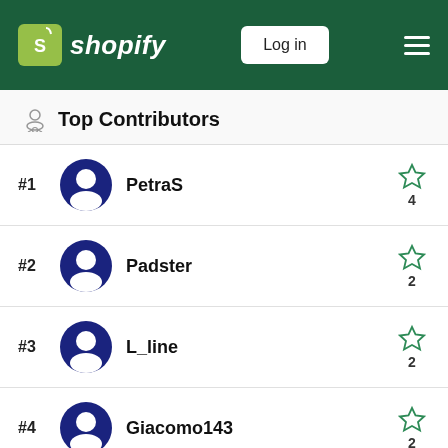Shopify — Log in
🏅 Top Contributors
#1 PetraS — 4 stars
#2 Padster — 2 stars
#3 L_line — 2 stars
#4 Giacomo143 — 2 stars